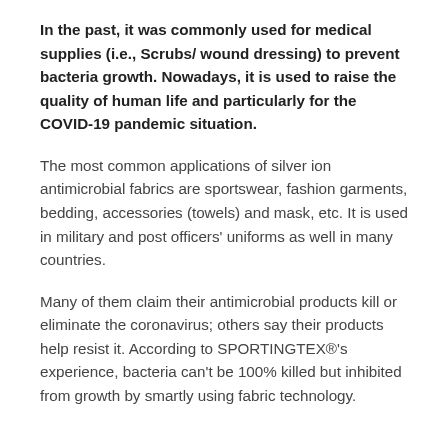In the past, it was commonly used for medical supplies (i.e., Scrubs/ wound dressing) to prevent bacteria growth. Nowadays, it is used to raise the quality of human life and particularly for the COVID-19 pandemic situation.
The most common applications of silver ion antimicrobial fabrics are sportswear, fashion garments, bedding, accessories (towels) and mask, etc. It is used in military and post officers' uniforms as well in many countries.
Many of them claim their antimicrobial products kill or eliminate the coronavirus; others say their products help resist it. According to SPORTINGTEX®'s experience, bacteria can't be 100% killed but inhibited from growth by smartly using fabric technology.